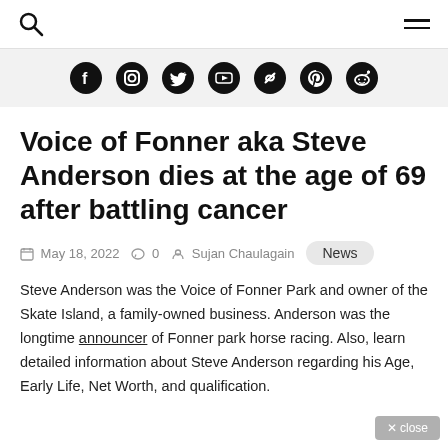Search | Menu navigation
[Figure (other): Social media icon bar with Facebook, Instagram, Twitter, YouTube, Link, Pinterest, Reddit icons]
Voice of Fonner aka Steve Anderson dies at the age of 69 after battling cancer
May 18, 2022   0   Sujan Chaulagain   News
Steve Anderson was the Voice of Fonner Park and owner of the Skate Island, a family-owned business. Anderson was the longtime announcer of Fonner park horse racing. Also, learn detailed information about Steve Anderson regarding his Age, Early Life, Net Worth, and qualification.